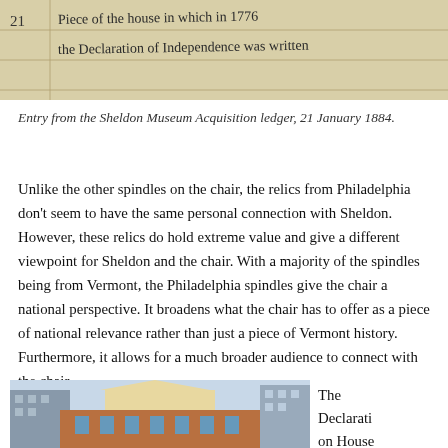[Figure (photo): Handwritten entry from the Sheldon Museum Acquisition ledger showing entry 21: 'Piece of the house in which in 1776 the Declaration of Independence was written']
Entry from the Sheldon Museum Acquisition ledger, 21 January 1884.
Unlike the other spindles on the chair, the relics from Philadelphia don't seem to have the same personal connection with Sheldon. However, these relics do hold extreme value and give a different viewpoint for Sheldon and the chair. With a majority of the spindles being from Vermont, the Philadelphia spindles give the chair a national perspective. It broadens what the chair has to offer as a piece of national relevance rather than just a piece of Vermont history. Furthermore, it allows for a much broader audience to connect with the chair.
[Figure (photo): Photograph of the Declaration House in Philadelphia, a brick building with a triangular pediment, surrounded by modern buildings]
The Declaration House